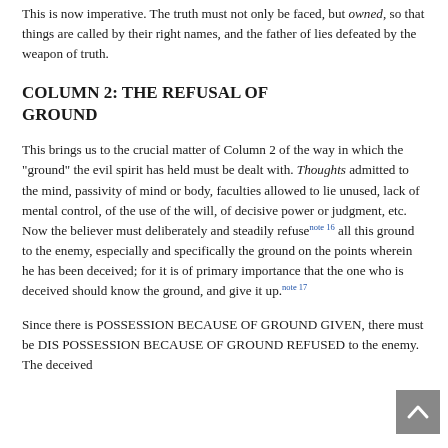This is now imperative. The truth must not only be faced, but owned, so that things are called by their right names, and the father of lies defeated by the weapon of truth.
COLUMN 2: THE REFUSAL OF GROUND
This brings us to the crucial matter of Column 2 of the way in which the "ground" the evil spirit has held must be dealt with. Thoughts admitted to the mind, passivity of mind or body, faculties allowed to lie unused, lack of mental control, of the use of the will, of decisive power or judgment, etc. Now the believer must deliberately and steadily refuse[note 16] all this ground to the enemy, especially and specifically the ground on the points wherein he has been deceived; for it is of primary importance that the one who is deceived should know the ground, and give it up.[note 17]
Since there is POSSESSION BECAUSE OF GROUND GIVEN, there must be DIS POSSESSION BECAUSE OF GROUND REFUSED to the enemy. The deceived